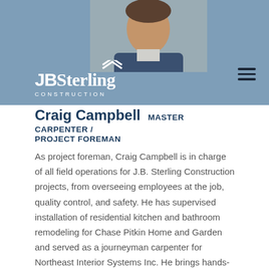[Figure (photo): Header area with photo of Craig Campbell and JB Sterling Construction logo on a blue-grey background with hamburger menu icon]
Craig Campbell  MASTER CARPENTER / PROJECT FOREMAN
As project foreman, Craig Campbell is in charge of all field operations for J.B. Sterling Construction projects, from overseeing employees at the job, quality control, and safety. He has supervised installation of residential kitchen and bathroom remodeling for Chase Pitkin Home and Garden and served as a journeyman carpenter for Northeast Interior Systems Inc. He brings hands-on experience in all aspects of building and remodeling from installation of cabinets and countertops to